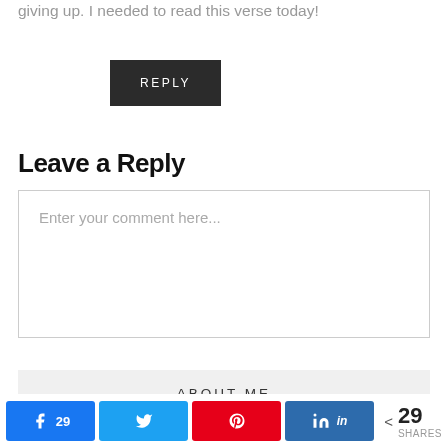giving up. I needed to read this verse today!
REPLY
Leave a Reply
Enter your comment here...
ABOUT ME
[Figure (screenshot): Social share bar with Facebook (29), Twitter, Pinterest, LinkedIn buttons and 29 SHARES total]